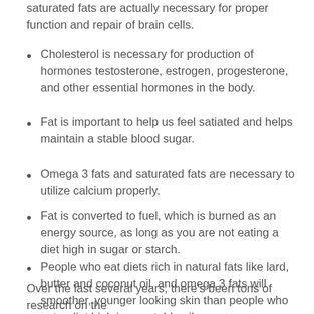saturated fats are actually necessary for proper function and repair of brain cells.
Cholesterol is necessary for production of hormones testosterone, estrogen, progesterone, and other essential hormones in the body.
Fat is important to help us feel satiated and helps maintain a stable blood sugar.
Omega 3 fats and saturated fats are necessary to utilize calcium properly.
Fat is converted to fuel, which is burned as an energy source, as long as you are not eating a diet high in sugar or starch.
People who eat diets rich in natural fats like lard, butter and coconut oil, and omega 3 fats will smoother, younger looking skin than people who eat a diet high in vegetable oils.
Over the last several years, there's been tons of research on the